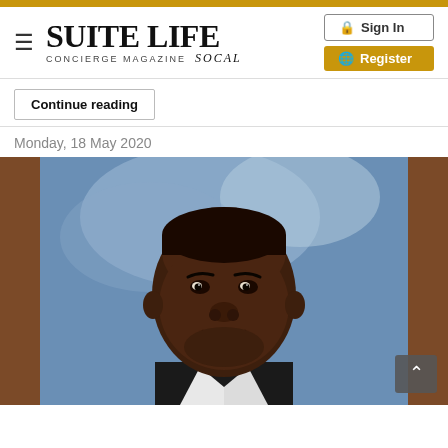Suite Life Concierge Magazine SoCal — Sign In | Register
Continue reading
Monday, 18 May 2020
[Figure (photo): Portrait photo of a young Black man smiling, wearing a dark suit jacket and white shirt, against a blue studio background with brown side panels.]